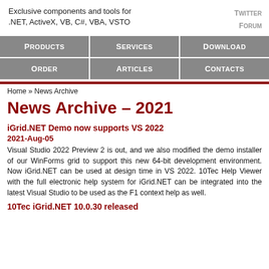Exclusive components and tools for .NET, ActiveX, VB, C#, VBA, VSTO
TWITTER FORUM
| PRODUCTS | SERVICES | DOWNLOAD | ORDER | ARTICLES | CONTACTS |
| --- | --- | --- | --- | --- | --- |
Home » News Archive
News Archive - 2021
iGrid.NET Demo now supports VS 2022
2021-Aug-05
Visual Studio 2022 Preview 2 is out, and we also modified the demo installer of our WinForms grid to support this new 64-bit development environment. Now iGrid.NET can be used at design time in VS 2022. 10Tec Help Viewer with the full electronic help system for iGrid.NET can be integrated into the latest Visual Studio to be used as the F1 context help as well.
10Tec iGrid.NET 10.0.30 released